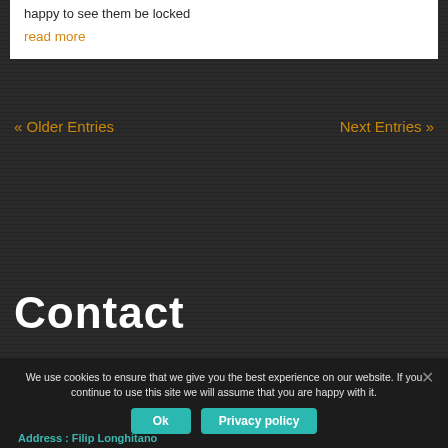happy to see them be locked
read more
« Older Entries
Next Entries »
Contact
We use cookies to ensure that we give you the best experience on our website. If you continue to use this site we will assume that you are happy with it.
Ok
Privacy policy
Address : Filip Longhitano